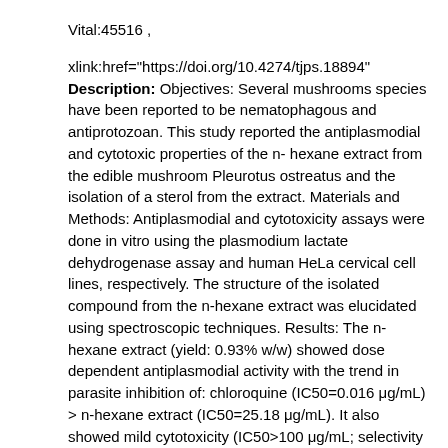Vital:45516 , xlink:href="https://doi.org/10.4274/tjps.18894" Description: Objectives: Several mushrooms species have been reported to be nematophagous and antiprotozoan. This study reported the antiplasmodial and cytotoxic properties of the n-hexane extract from the edible mushroom Pleurotus ostreatus and the isolation of a sterol from the extract. Materials and Methods: Antiplasmodial and cytotoxicity assays were done in vitro using the plasmodium lactate dehydrogenase assay and human HeLa cervical cell lines, respectively. The structure of the isolated compound from the n-hexane extract was elucidated using spectroscopic techniques. Results: The n-hexane extract (yield: 0.93% w/w) showed dose dependent antiplasmodial activity with the trend in parasite inhibition of: chloroquine (IC50=0.016 μg/mL) > n-hexane extract (IC50=25.18 μg/mL). It also showed mild cytotoxicity (IC50>100 μg/mL; selectivity index >4) compared to the reference drug emetine (IC50=0.013 μg/mL). The known sterol, ergostan-